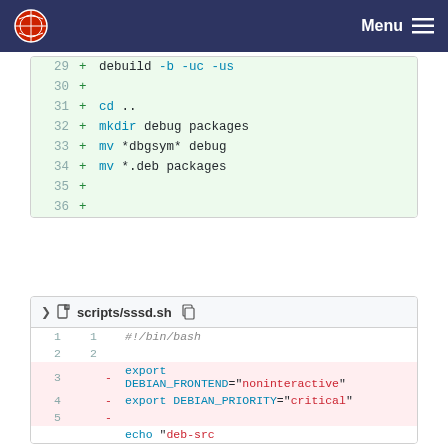Menu
[Figure (screenshot): Code diff block showing lines 29-36, added lines with green background: debuild -b -uc -us, cd .., mkdir debug packages, mv *dbgsym* debug, mv *.deb packages]
[Figure (screenshot): Code diff block for scripts/sssd.sh showing lines 1-6 with removed lines (pink background): export DEBIAN_FRONTEND=noninteractive, export DEBIAN_PRIORITY=critical, and added line: echo deb-src http://ftp.halifax.rwth-aachen.de/debian/ buster main >]